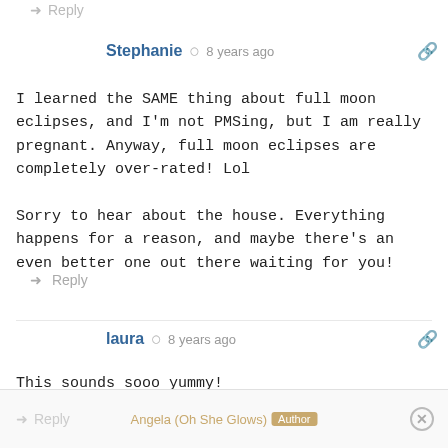↪ Reply
Stephanie · 8 years ago
I learned the SAME thing about full moon eclipses, and I'm not PMSing, but I am really pregnant. Anyway, full moon eclipses are completely over-rated! Lol

Sorry to hear about the house. Everything happens for a reason, and maybe there's an even better one out there waiting for you!
↪ Reply
laura · 8 years ago
This sounds sooo yummy!
When exactly do the cashews get added?
↪ Reply
Angela (Oh She Glows) Author